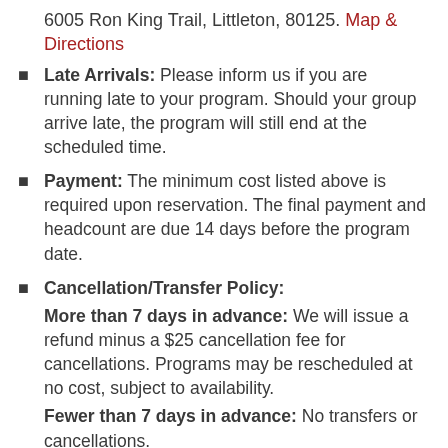6005 Ron King Trail, Littleton, 80125. Map & Directions
Late Arrivals: Please inform us if you are running late to your program. Should your group arrive late, the program will still end at the scheduled time.
Payment: The minimum cost listed above is required upon reservation. The final payment and headcount are due 14 days before the program date.
Cancellation/Transfer Policy: More than 7 days in advance: We will issue a refund minus a $25 cancellation fee for cancellations. Programs may be rescheduled at no cost, subject to availability. Fewer than 7 days in advance: No transfers or cancellations.